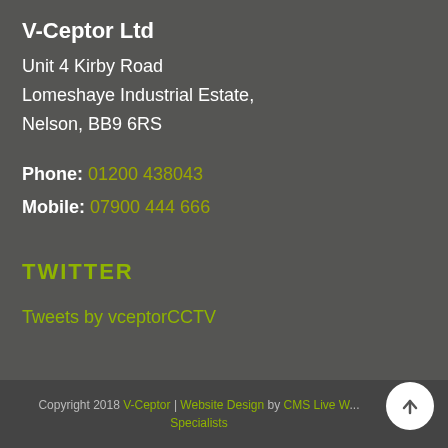V-Ceptor Ltd
Unit 4 Kirby Road
Lomeshaye Industrial Estate,
Nelson, BB9 6RS
Phone: 01200 438043
Mobile: 07900 444 666
TWITTER
Tweets by vceptorCCTV
Copyright 2018 V-Ceptor | Website Design by CMS Live W... Specialists